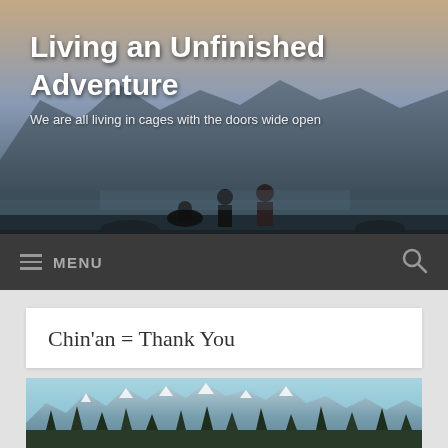[Figure (photo): Header photo showing silhouettes of people (children and adults) by a mountain lake at dusk, with mountains in background and dramatic sky]
Living an Unfinished Adventure
We are all living in cages with the doors wide open
≡ MENU  🔍
Chin'an = Thank You
[Figure (photo): Mountain landscape photo showing jagged snow-capped peaks with conifer forest in foreground, blue-green tones]